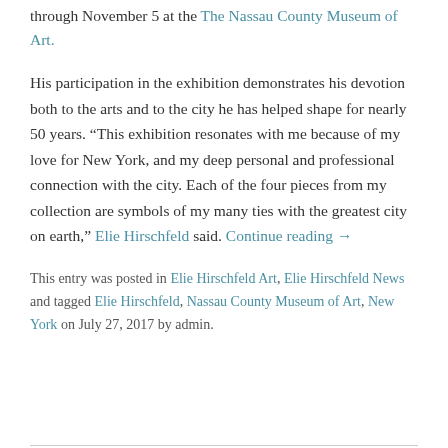through November 5 at the The Nassau County Museum of Art.
His participation in the exhibition demonstrates his devotion both to the arts and to the city he has helped shape for nearly 50 years. “This exhibition resonates with me because of my love for New York, and my deep personal and professional connection with the city. Each of the four pieces from my collection are symbols of my many ties with the greatest city on earth,” Elie Hirschfeld said. Continue reading →
This entry was posted in Elie Hirschfeld Art, Elie Hirschfeld News and tagged Elie Hirschfeld, Nassau County Museum of Art, New York on July 27, 2017 by admin.